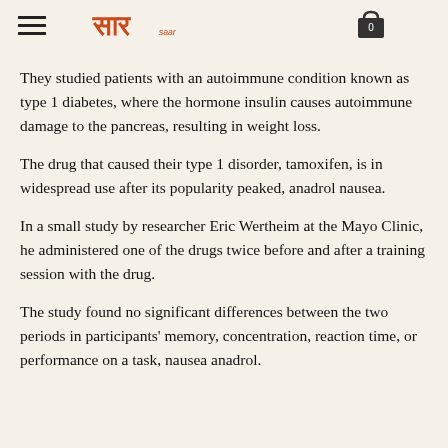SAAR soar
They studied patients with an autoimmune condition known as type 1 diabetes, where the hormone insulin causes autoimmune damage to the pancreas, resulting in weight loss.
The drug that caused their type 1 disorder, tamoxifen, is in widespread use after its popularity peaked, anadrol nausea.
In a small study by researcher Eric Wertheim at the Mayo Clinic, he administered one of the drugs twice before and after a training session with the drug.
The study found no significant differences between the two periods in participants' memory, concentration, reaction time, or performance on a task, nausea anadrol.